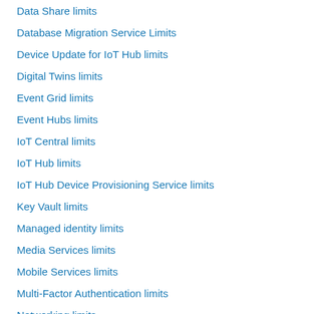Data Share limits
Database Migration Service Limits
Device Update for IoT Hub limits
Digital Twins limits
Event Grid limits
Event Hubs limits
IoT Central limits
IoT Hub limits
IoT Hub Device Provisioning Service limits
Key Vault limits
Managed identity limits
Media Services limits
Mobile Services limits
Multi-Factor Authentication limits
Networking limits
Notification Hubs limits
Microsoft Purview limits